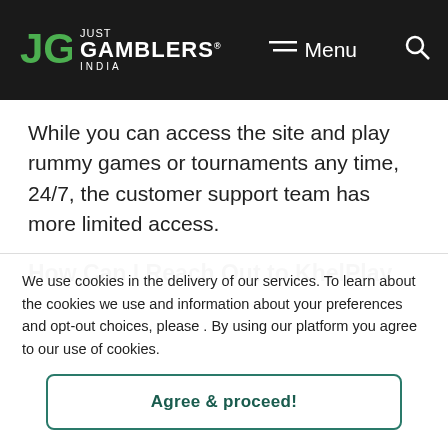Just Gamblers India — Menu
While you can access the site and play rummy games or tournaments any time, 24/7, the customer support team has more limited access.
How Can I Reach Out to KhelPlay
We use cookies in the delivery of our services. To learn about the cookies we use and information about your preferences and opt-out choices, please . By using our platform you agree to our use of cookies.